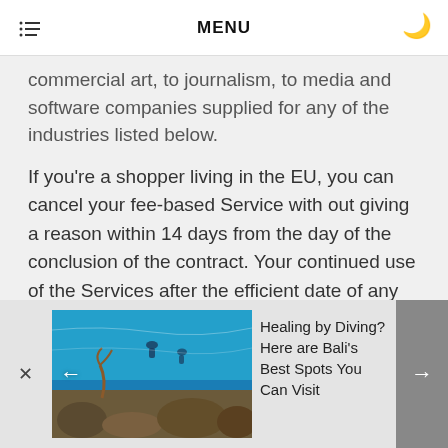MENU
commercial art, to journalism, to media and software companies supplied for any of the industries listed below.
If you're a shopper living in the EU, you can cancel your fee-based Service with out giving a reason within 14 days from the day of the conclusion of the contract. Your continued use of the Services after the efficient date of any such modifications means that you comply with the Companies or the Terms as modified.
[Figure (photo): Underwater diving scene showing scuba divers swimming above coral reef, with blue ocean water. Advertisement for 'Healing by Diving? Here are Bali's Best Spots You Can Visit'.]
Healing by Diving? Here are Bali's Best Spots You Can Visit